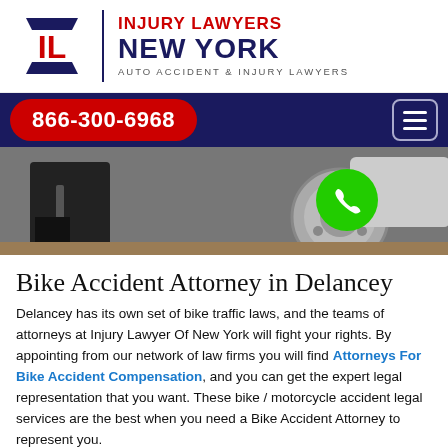[Figure (logo): Injury Lawyers New York logo with red IL monogram, blue text 'NEW YORK', and subtitle 'AUTO ACCIDENT & INJURY LAWYERS']
[Figure (screenshot): Navigation bar with red pill phone number 866-300-6968 and hamburger menu icon on dark blue background]
[Figure (photo): Hero image showing a person near a vehicle wheel, close-up of motorcycle/car accident scene]
Bike Accident Attorney in Delancey
Delancey has its own set of bike traffic laws, and the teams of attorneys at Injury Lawyer Of New York will fight your rights. By appointing from our network of law firms you will find Attorneys For Bike Accident Compensation, and you can get the expert legal representation that you want. These bike / motorcycle accident legal services are the best when you need a Bike Accident Attorney to represent you.